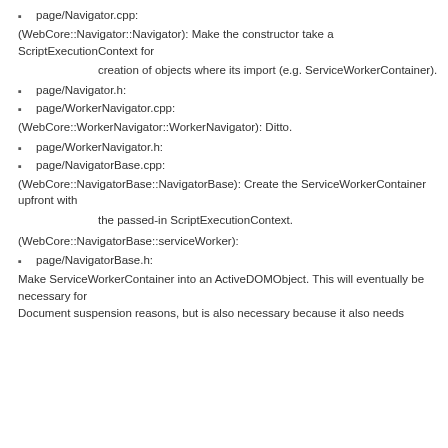page/Navigator.cpp:
(WebCore::Navigator::Navigator): Make the constructor take a ScriptExecutionContext for
creation of objects where its import (e.g. ServiceWorkerContainer).
page/Navigator.h:
page/WorkerNavigator.cpp:
(WebCore::WorkerNavigator::WorkerNavigator): Ditto.
page/WorkerNavigator.h:
page/NavigatorBase.cpp:
(WebCore::NavigatorBase::NavigatorBase): Create the ServiceWorkerContainer upfront with
the passed-in ScriptExecutionContext.
(WebCore::NavigatorBase::serviceWorker):
page/NavigatorBase.h:
Make ServiceWorkerContainer into an ActiveDOMObject. This will eventually be necessary for Document suspension reasons, but is also necessary because it also needs